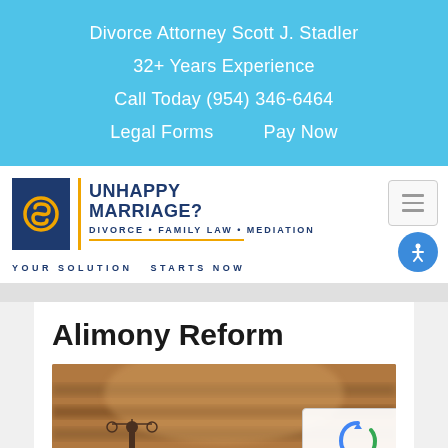Divorce Attorney Scott J. Stadler
32+ Years Experience
Call Today (954) 346-6464
Legal Forms    Pay Now
[Figure (logo): Unhappy Marriage? Divorce • Family Law • Mediation logo with stylized S icon on navy background. Tagline: YOUR SOLUTION STARTS NOW]
Alimony Reform
[Figure (photo): Blurred court room scene with wooden benches and a small figurine representing justice in the foreground]